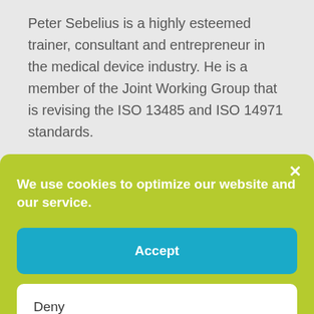Peter Sebelius is a highly esteemed trainer, consultant and entrepreneur in the medical device industry. He is a member of the Joint Working Group that is revising the ISO 13485 and ISO 14971 standards.
He has vast 'hands on' experience, having
We use cookies to optimize our website and our service.
Accept
Deny
Opt-out preferences